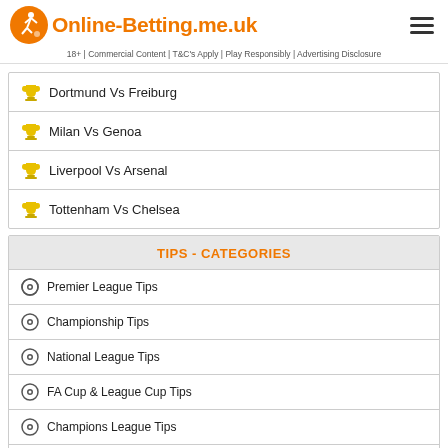Online-Betting.me.uk
18+ | Commercial Content | T&C's Apply | Play Responsibly | Advertising Disclosure
Dortmund Vs Freiburg
Milan Vs Genoa
Liverpool Vs Arsenal
Tottenham Vs Chelsea
TIPS - CATEGORIES
Premier League Tips
Championship Tips
National League Tips
FA Cup & League Cup Tips
Champions League Tips
Europa League Tips